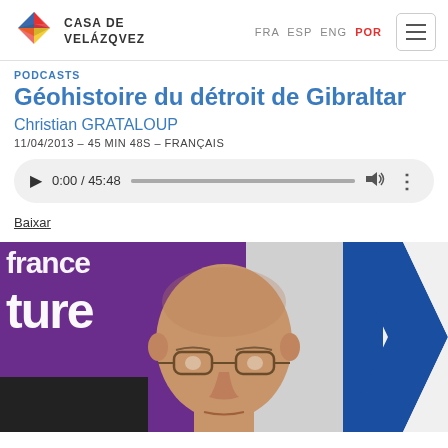CASA DE VELÁZQUEZ — FRA ESP ENG POR
PODCASTS
Géohistoire du détroit de Gibraltar
Christian GRATALOUP
11/04/2013 – 45 MIN 48S – FRANÇAIS
[Figure (other): Audio player widget showing 0:00 / 45:48 with play button, progress bar, volume icon, and more options icon]
Baixar
[Figure (photo): Photo of Christian Grataloup, a bald man with glasses, in front of a purple sign reading 'france culture' and a blue/white flag on the right]